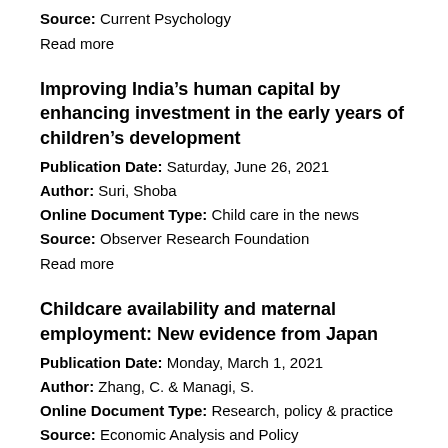Source: Current Psychology
Read more
Improving India’s human capital by enhancing investment in the early years of children’s development
Publication Date: Saturday, June 26, 2021
Author: Suri, Shoba
Online Document Type: Child care in the news
Source: Observer Research Foundation
Read more
Childcare availability and maternal employment: New evidence from Japan
Publication Date: Monday, March 1, 2021
Author: Zhang, C. & Managi, S.
Online Document Type: Research, policy & practice
Source: Economic Analysis and Policy